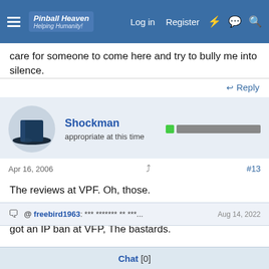Pinball Heaven - Log in | Register
care for someone to come here and try to bully me into silence.
Reply
Shockman
appropriate at this time
Apr 16, 2006  #13
The reviews at VPF. Oh, those.

If I can say so, without starting another thread LOL, I got an IP ban at VFP, The bastards.

A life long ip ban. I'd like to kill them.
@ freebird1963: *** ******* ** ***...  Aug 14, 2022
Chat [0]